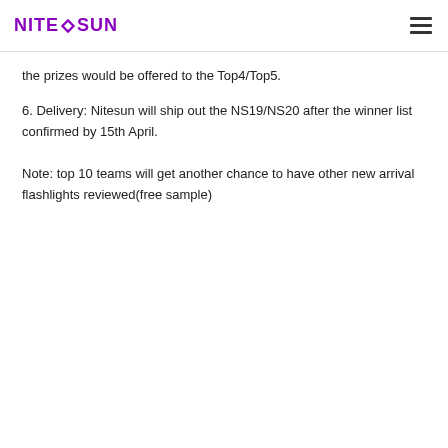NITESUN
the prizes would be offered to the Top4/Top5.
6. Delivery: Nitesun will ship out the NS19/NS20 after the winner list confirmed by 15th April.
Note: top 10 teams will get another chance to have other new arrival flashlights reviewed(free sample)